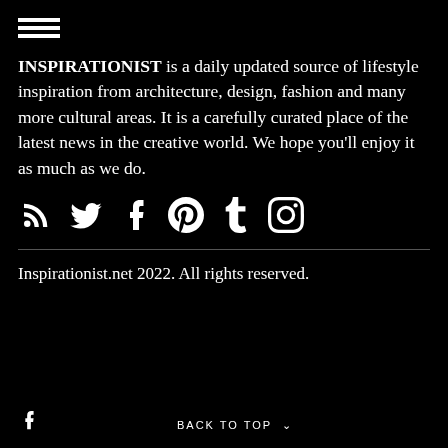[Figure (other): Hamburger menu icon (three horizontal white lines)]
INSPIRATIONIST is a daily updated source of lifestyle inspiration from architecture, design, fashion and many more cultural areas. It is a carefully curated place of the latest news in the creative world. We hope you'll enjoy it as much as we do.
[Figure (infographic): Social media icons: RSS, Twitter, Facebook, Pinterest, Tumblr, Instagram]
Inspirationist.net 2022. All rights reserved.
f   BACK TO TOP ^